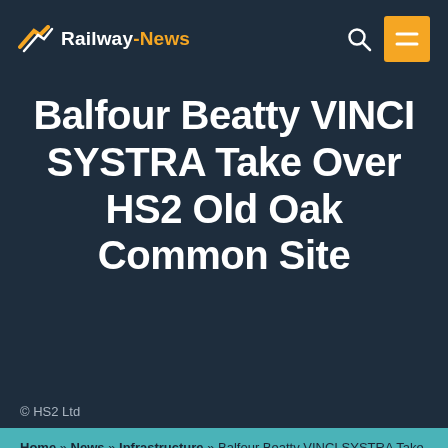Railway-News
Balfour Beatty VINCI SYSTRA Take Over HS2 Old Oak Common Site
© HS2 Ltd
Home » News » Infrastructure » Balfour Beatty VINCI SYSTRA Take Over HS2 Old Oak Common Site
INFRASTRUCTURE
by Josephine Cordero Sapién
PUBLISHED